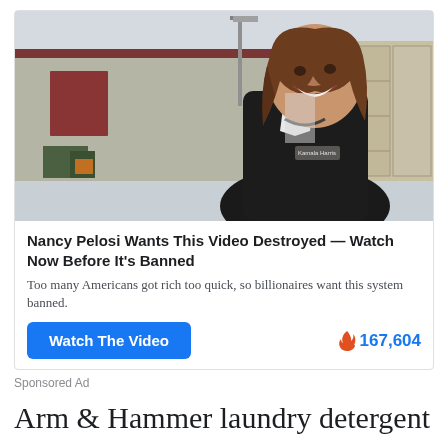[Figure (photo): Photo of a smiling woman in a dark jacket with a name tag, standing outdoors in front of an industrial building]
Nancy Pelosi Wants This Video Destroyed — Watch Now Before It's Banned
Too many Americans got rich too quick, so billionaires want this system banned.
Watch The Video   🔥 167,604
Sponsored Ad
Arm & Hammer laundry detergent used to contain 75 ounces per container, now families